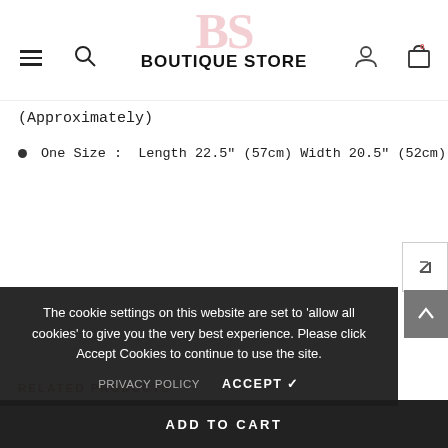BS BOUTIQUE STORE
(Approximately)
One Size :  Length 22.5" (57cm) Width 20.5" (52cm)
The cookie settings on this website are set to 'allow all cookies' to give you the very best experience. Please click Accept Cookies to continue to use the site.
PRIVACY POLICY   ACCEPT ✔
RELATED PRODUCTS
ADD TO CART